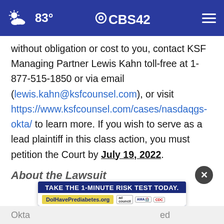83° CBS42 [navigation header]
without obligation or cost to you, contact KSF Managing Partner Lewis Kahn toll-free at 1-877-515-1850 or via email (lewis.kahn@ksfcounsel.com), or visit https://www.ksfcounsel.com/cases/nasdaqgs-okta/ to learn more. If you wish to serve as a lead plaintiff in this class action, you must petition the Court by July 19, 2022.
About the Lawsuit
Okta ... ed
[Figure (screenshot): Advertisement banner: TAKE THE 1-MINUTE RISK TEST TODAY. DolHavePrediabetes.org with ad council, AMA, and CDC logos]